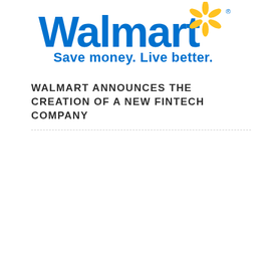[Figure (logo): Walmart logo with spark symbol and tagline 'Save money. Live better.' in blue and yellow]
WALMART ANNOUNCES THE CREATION OF A NEW FINTECH COMPANY